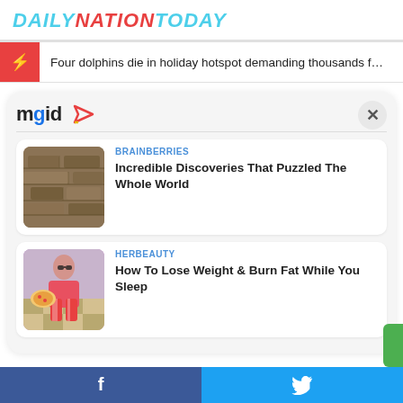DAILYNATIONTODAY
Four dolphins die in holiday hotspot demanding thousands f…
[Figure (screenshot): MGID content widget logo with play button arrow icon]
BRAINBERRIES
Incredible Discoveries That Puzzled The Whole World
HERBEAUTY
How To Lose Weight & Burn Fat While You Sleep
Facebook share | Twitter share